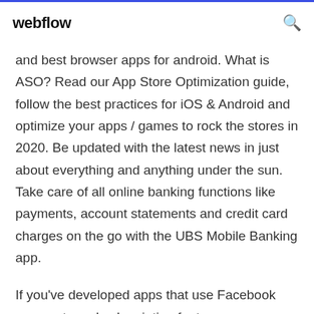webflow
and best browser apps for android. What is ASO? Read our App Store Optimization guide, follow the best practices for iOS & Android and optimize your apps / games to rock the stores in 2020. Be updated with the latest news in just about everything and anything under the sun. Take care of all online banking functions like payments, account statements and credit card charges on the go with the UBS Mobile Banking app.
If you've developed apps that use Facebook payments and subscription features, you can get a report from us, breaking down payment activity in ...